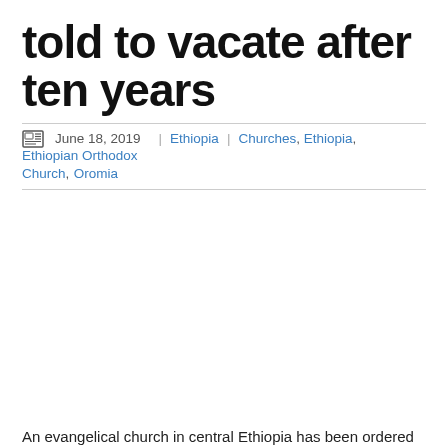told to vacate after ten years
June 18, 2019 | Ethiopia | Churches, Ethiopia, Ethiopian Orthodox Church, Oromia
An evangelical church in central Ethiopia has been ordered